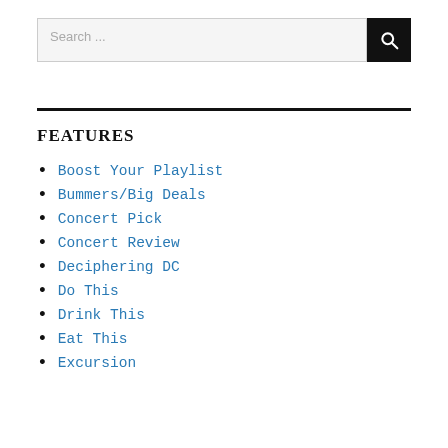Search ...
FEATURES
Boost Your Playlist
Bummers/Big Deals
Concert Pick
Concert Review
Deciphering DC
Do This
Drink This
Eat This
Excursion